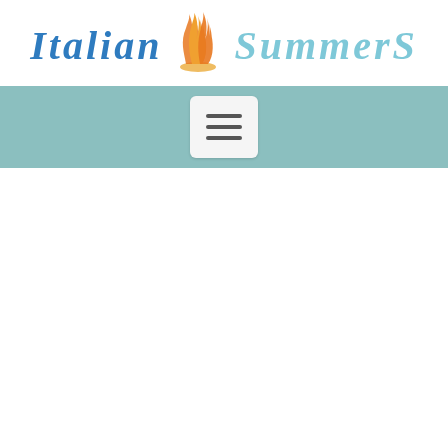[Figure (logo): Italian Summers logo with stylized orange/gold flame icon between the two words, 'Italian' in blue italic serif font and 'Summers' in light blue italic serif font]
[Figure (screenshot): Teal/muted green navigation bar with a hamburger menu button (three horizontal lines) in a light grey rounded square in the center]
[Figure (photo): White content area below the navigation bar, mostly blank/white space suggesting a webpage below the fold]